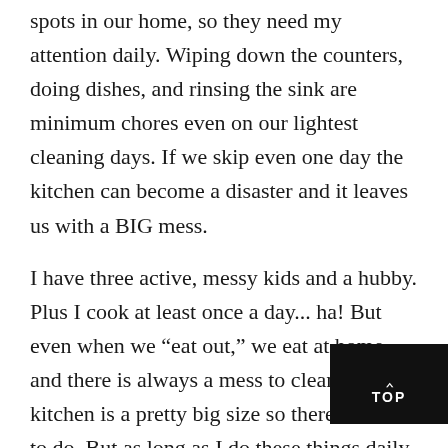spots in our home, so they need my attention daily. Wiping down the counters, doing dishes, and rinsing the sink are minimum chores even on our lightest cleaning days. If we skip even one day the kitchen can become a disaster and it leaves us with a BIG mess.
I have three active, messy kids and a hubby. Plus I cook at least once a day... ha! But even when we “eat out,” we eat at home and there is always a mess to clean up. Our kitchen is a pretty big size so there is a lot to do. But as long as I do these things daily, I feel like I’m always ahead of the game the next day.